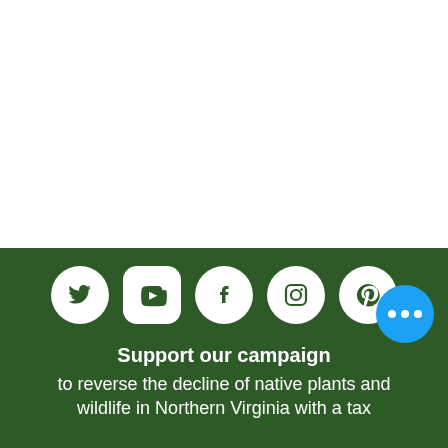[Figure (infographic): Dark green banner with white social media icons (Twitter, YouTube, Facebook, Instagram, Pinterest) in a row, followed by text 'Support our campaign to reverse the decline of native plants and wildlife in Northern Virginia with a tax', and a blue circular more-options button overlapping the text area.]